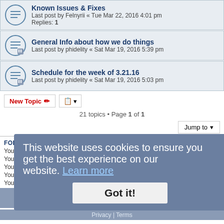Known Issues & Fixes - Last post by Felnyrii « Tue Mar 22, 2016 4:01 pm - Replies: 1
General Info about how we do things - Last post by phidelity « Sat Mar 19, 2016 5:39 pm
Schedule for the week of 3.21.16 - Last post by phidelity « Sat Mar 19, 2016 5:03 pm
21 topics • Page 1 of 1
FORUM PERMISSIONS
You cannot post new topics in this forum
You cannot reply to topics in this forum
You cannot edit your posts in this forum
You cannot post attachments in this forum
Home · Board index  All times are UTC-05:00
This website uses cookies to ensure you get the best experience on our website. Learn more
Got it!
Powered by phpBB Forum Software © phpBB Limited  phpBB Two Factor Authentication © paul999  Privacy | Terms